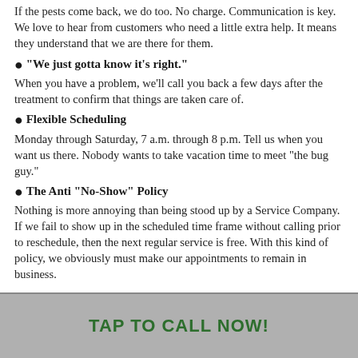If the pests come back, we do too. No charge. Communication is key. We love to hear from customers who need a little extra help. It means they understand that we are there for them.
"We just gotta know it's right." When you have a problem, we'll call you back a few days after the treatment to confirm that things are taken care of.
Flexible Scheduling Monday through Saturday, 7 a.m. through 8 p.m. Tell us when you want us there. Nobody wants to take vacation time to meet "the bug guy."
The Anti "No-Show" Policy Nothing is more annoying than being stood up by a Service Company. If we fail to show up in the scheduled time frame without calling prior to reschedule, then the next regular service is free. With this kind of policy, we obviously must make our appointments to remain in business.
TAP TO CALL NOW!